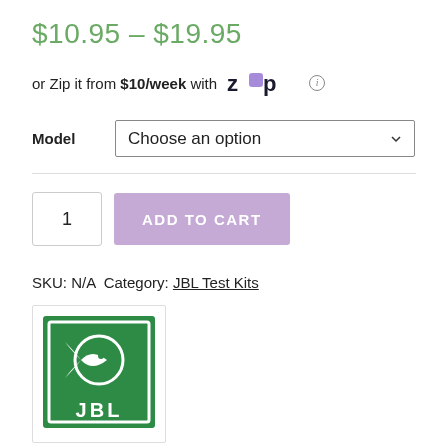$10.95 – $19.95
or Zip it from $10/week with [Zip logo] ⓘ
Model   Choose an option
1   ADD TO CART
SKU: N/A  Category: JBL Test Kits
[Figure (logo): JBL brand logo — green square border with a stylized fish icon and 'JBL' text in white on green background]
SHARE THIS: